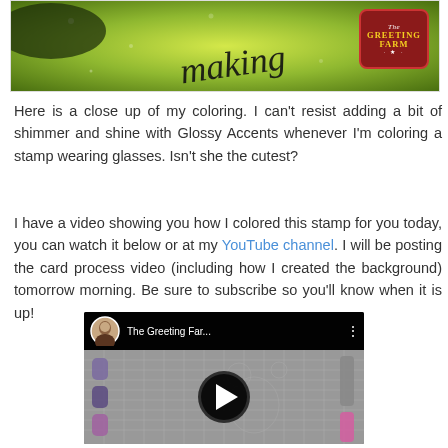[Figure (photo): Close-up photo of colorful art card with yellow-green background and handwritten text, The Greeting Farm logo badge in top right corner]
Here is a close up of my coloring. I can't resist adding a bit of shimmer and shine with Glossy Accents whenever I'm coloring a stamp wearing glasses. Isn't she the cutest?
I have a video showing you how I colored this stamp for you today, you can watch it below or at my YouTube channel. I will be posting the card process video (including how I created the background) tomorrow morning. Be sure to subscribe so you'll know when it is up!
[Figure (screenshot): YouTube video thumbnail showing The Greeting Farm video with a woman avatar, markers and a stamp coloring in progress, with a play button in the center]